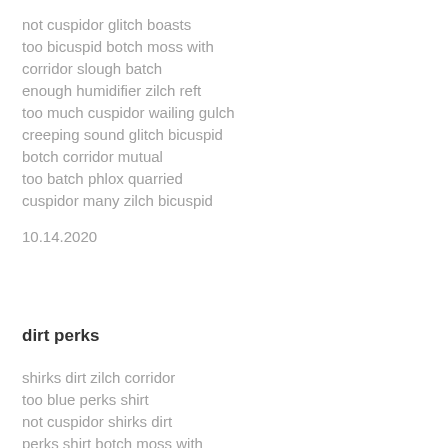not cuspidor glitch boasts
too bicuspid botch moss with
corridor slough batch
enough humidifier zilch reft
too much cuspidor wailing gulch
creeping sound glitch bicuspid
botch corridor mutual
too batch phlox quarried
cuspidor many zilch bicuspid
10.14.2020
dirt perks
shirks dirt zilch corridor
too blue perks shirt
not cuspidor shirks dirt
perks shirt botch moss with
corridor perks shirt
shirks dirt zilch reft